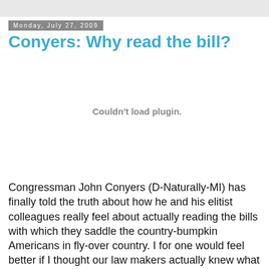Monday, July 27, 2009
Conyers: Why read the bill?
[Figure (other): Embedded media plugin area showing 'Couldn't load plugin.' message]
Congressman John Conyers (D-Naturally-MI) has finally told the truth about how he and his elitist colleagues really feel about actually reading the bills with which they saddle the country-bumpkin Americans in fly-over country. I for one would feel better if I thought our law makers actually knew what they were voting on. If you can't read it and understand